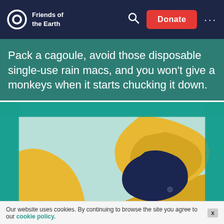Friends of the Earth — Donate
Pack a cagoule, avoid those disposable single-use rain macs, and you won't give a monkeys when it starts chucking it down.
[Figure (photo): A yellow rain cagoule with navy blue interior lining, displayed against a mint/teal background with a teal glitter border frame around the image.]
Our website uses cookies. By continuing to browse the site you agree to our cookie policy.